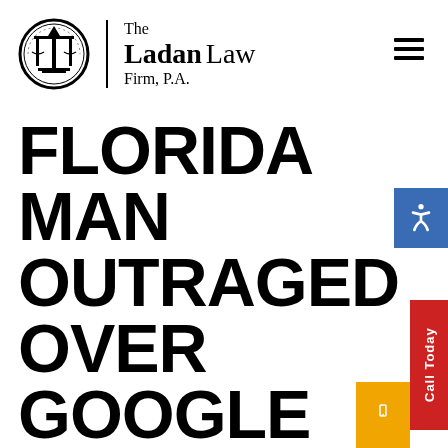[Figure (logo): The Ladan Law Firm, P.A. circular logo with scales of justice and columns, with firm name text to the right]
FLORIDA MAN OUTRAGED OVER GOOGLE SEARCH SUES SUN-SENTINEL
July 21, 2016